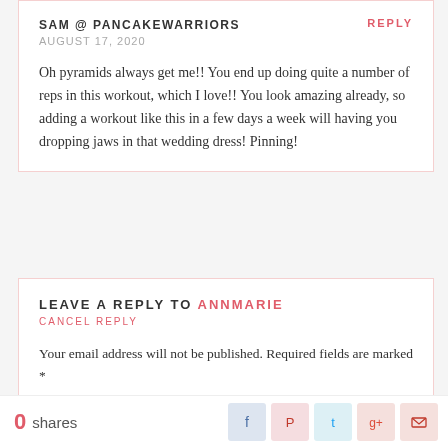SAM @ PANCAKEWARRIORS
REPLY
AUGUST 17, 2020
Oh pyramids always get me!! You end up doing quite a number of reps in this workout, which I love!! You look amazing already, so adding a workout like this in a few days a week will having you dropping jaws in that wedding dress! Pinning!
LEAVE A REPLY TO ANNMARIE
CANCEL REPLY
Your email address will not be published. Required fields are marked *
0 shares